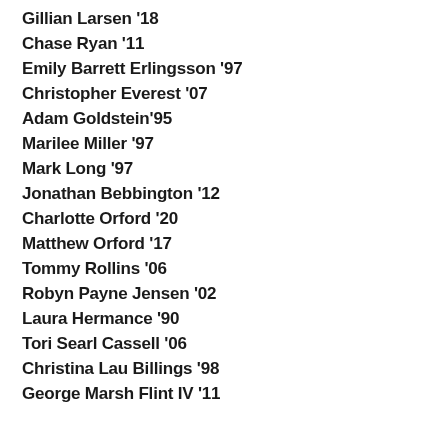Gillian Larsen '18
Chase Ryan '11
Emily Barrett Erlingsson '97
Christopher Everest '07
Adam Goldstein'95
Marilee Miller '97
Mark Long '97
Jonathan Bebbington '12
Charlotte Orford '20
Matthew Orford '17
Tommy Rollins '06
Robyn Payne Jensen '02
Laura Hermance '90
Tori Searl Cassell '06
Christina Lau Billings '98
George Marsh Flint IV '11